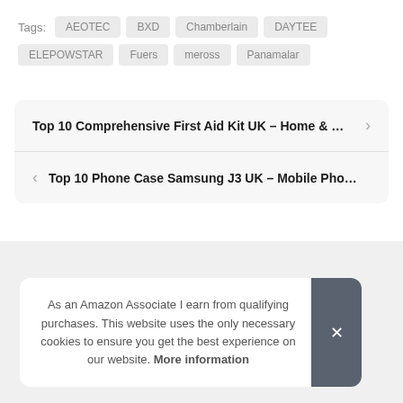Tags: AEOTEC  BXD  Chamberlain  DAYTEE  ELEPOWSTAR  Fuers  meross  Panamalar
Top 10 Comprehensive First Aid Kit UK – Home & …
Top 10 Phone Case Samsung J3 UK – Mobile Pho…
As an Amazon Associate I earn from qualifying purchases. This website uses the only necessary cookies to ensure you get the best experience on our website. More information